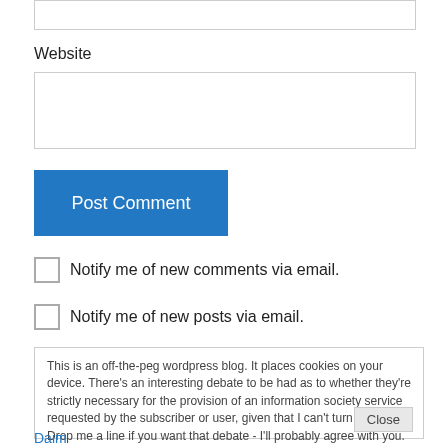Website
[Figure (screenshot): Empty Website input text box]
Post Comment
Notify me of new comments via email.
Notify me of new posts via email.
This is an off-the-peg wordpress blog. It places cookies on your device. There's an interesting debate to be had as to whether they're strictly necessary for the provision of an information society service requested by the subscriber or user, given that I can't turn them off. Drop me a line if you want that debate - I'll probably agree with you. Here's the rub
Close
Daim